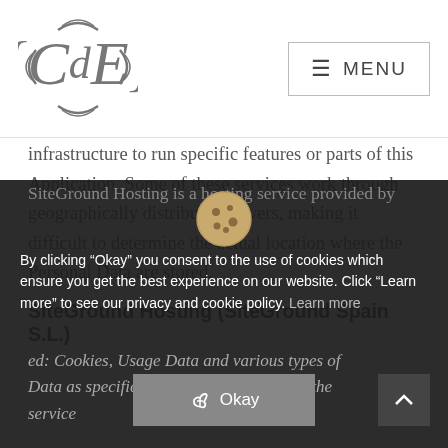[Figure (logo): CdE decorative monogram logo in grey]
≡ MENU
infrastructure to run specific features or parts of this Application. Some of these services work through geographically distributed servers, making it difficult to determine the actual location where the Personal Data are stored.
SiteGround Hosting (SiteGround Spain S.L.)
SiteGround Hosting is a hosting service provided by
By clicking “Okay” you consent to the use of cookies which ensure you get the best experience on our website. Click “Learn more” to see our privacy and cookie policy. Learn more
ed: Cookies, Usage Data and various types of Data as specified in the privacy policy of the service
Okay